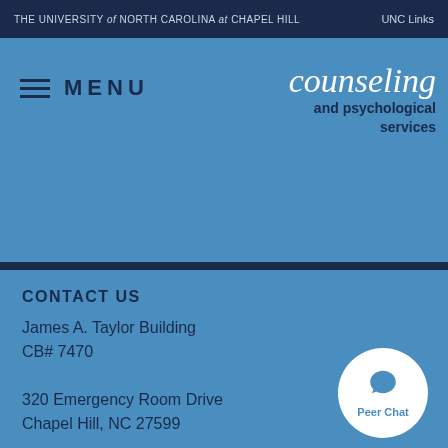THE UNIVERSITY of NORTH CAROLINA at CHAPEL HILL | UNC Links
[Figure (logo): Counseling and psychological services logo with cursive 'counseling' text and bold subtitle]
MENU
CONTACT US
James A. Taylor Building
CB# 7470
320 Emergency Room Drive
Chapel Hill, NC 27599
V: 919-966-3658
T: T-711
caps@unc.edu
[Figure (infographic): Peer Chat circular button with speech bubble icon]